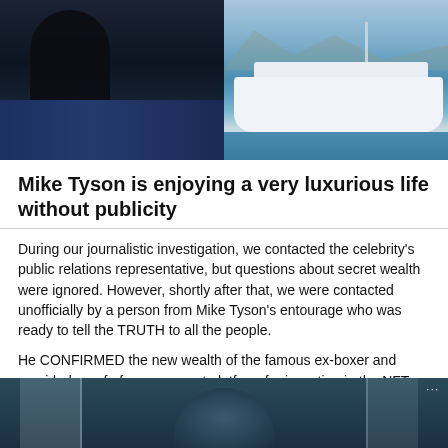[Figure (photo): Two photos side by side: left shows a dark interior scene with a person seated, right shows a luxury white yacht on blue water with mountains in background]
Mike Tyson is enjoying a very luxurious life without publicity
During our journalistic investigation, we contacted the celebrity's public relations representative, but questions about secret wealth were ignored. However, shortly after that, we were contacted unofficially by a person from Mike Tyson's entourage who was ready to tell the TRUTH to all the people.
He CONFIRMED the new wealth of the famous ex-boxer and provided proof of a new secret platform for investing in the NFT.
[Figure (photo): Partial view of a person in a dark interior setting, bottom of page]